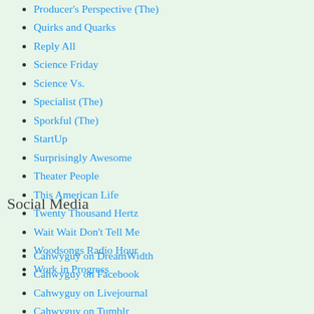Producer's Perspective (The)
Quirks and Quarks
Reply All
Science Friday
Science Vs.
Specialist (The)
Sporkful (The)
StartUp
Surprisingly Awesome
Theater People
This American Life
Twenty Thousand Hertz
Wait Wait Don't Tell Me
Woodsongs Radio Hour
Work in Progress
Social Media
Cahwyguy on DreamWidth
Cahwyguy on Facebook
Cahwyguy on Livejournal
Cahwyguy on Tumblr